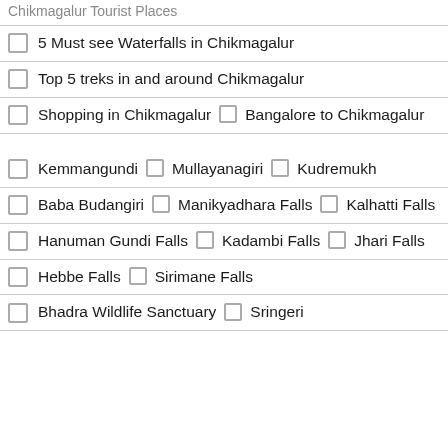Chikmagalur Tourist Places
5 Must see Waterfalls in Chikmagalur
Top 5 treks in and around Chikmagalur
Shopping in Chikmagalur  ❯  Bangalore to Chikmagalur
Kemmangundi  ❯  Mullayanagiri  ❯  Kudremukh
Baba Budangiri  ❯  Manikyadhara Falls  ❯  Kalhatti Falls
Hanuman Gundi Falls  ❯  Kadambi Falls  ❯  Jhari Falls
Hebbe Falls  ❯  Sirimane Falls
Bhadra Wildlife Sanctuary  ❯  Sringeri